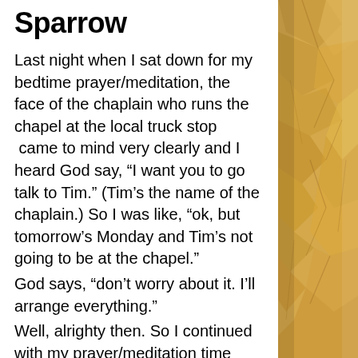Sparrow
Last night when I sat down for my bedtime prayer/meditation, the face of the chaplain who runs the chapel at the local truck stop  came to mind very clearly and I heard God say, “I want you to go talk to Tim.” (Tim’s the name of the chaplain.) So I was like, “ok, but tomorrow’s Monday and Tim’s not going to be at the chapel.”
God says, “don’t worry about it. I’ll arrange everything.”
Well, alrighty then. So I continued with my prayer/meditation time wondering why God wanted me to go talk to Tim. When I was done and about to go to bed, I realized that I hadn’t gotten around to putting gas in my car that day.
[Figure (photo): Sandy/golden stone or rock texture on the right side of the page]